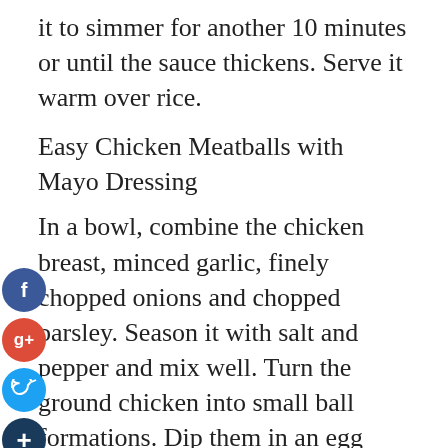it to simmer for another 10 minutes or until the sauce thickens. Serve it warm over rice.
Easy Chicken Meatballs with Mayo Dressing
In a bowl, combine the chicken breast, minced garlic, finely chopped onions and chopped parsley. Season it with salt and pepper and mix well. Turn the ground chicken into small ball formations. Dip them in an egg mixture (to keep the shape) and roll them in bread crumbs. Fry them under moderate heat on a pan with butter until it is evenly browned. Serve it warm with rice and mayonnaise dressing.
Sautéed Ground Chicken with Mixed Vegetables